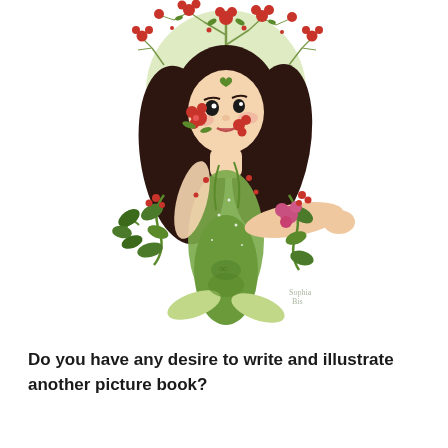[Figure (illustration): Colorful illustration of a mermaid girl with long dark hair, surrounded by red flowers and green leaves. The upper half shows a girl with a floral halo/circle behind her head, and the lower half transitions into a green mermaid tail with botanical decorations.]
Do you have any desire to write and illustrate another picture book?